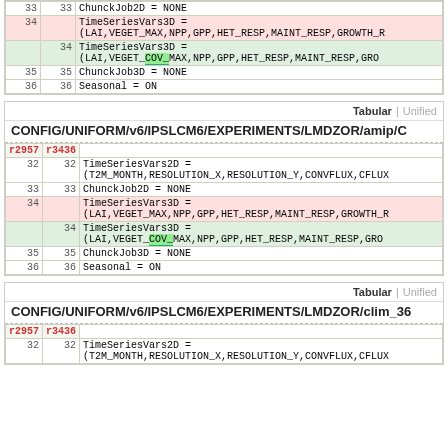| r2957 | r3436 | content |
| --- | --- | --- |
| 33 | 33 | ChunckJob2D = NONE |
| 34 |  | TimeSeriesVars3D =
(LAI,VEGET_MAX,NPP,GPP,HET_RESP,MAINT_RESP,GROWTH_R... |
|  | 34 | TimeSeriesVars3D =
(LAI,VEGET_COV_MAX,NPP,GPP,HET_RESP,MAINT_RESP,GRO... |
| 35 | 35 | ChunckJob3D = NONE |
| 36 | 36 | Seasonal = ON |
Tabular | Unified
CONFIG/UNIFORM/v6/IPSLCM6/EXPERIMENTS/LMDZOR/amip/C...
| r2957 | r3436 | content |
| --- | --- | --- |
| 32 | 32 | TimeSeriesVars2D =
(T2M_MONTH,RESOLUTION_X,RESOLUTION_Y,CONVFLUX,CFLUX... |
| 33 | 33 | ChunckJob2D = NONE |
| 34 |  | TimeSeriesVars3D =
(LAI,VEGET_MAX,NPP,GPP,HET_RESP,MAINT_RESP,GROWTH_R... |
|  | 34 | TimeSeriesVars3D =
(LAI,VEGET_COV_MAX,NPP,GPP,HET_RESP,MAINT_RESP,GRO... |
| 35 | 35 | ChunckJob3D = NONE |
| 36 | 36 | Seasonal = ON |
Tabular | Unified
CONFIG/UNIFORM/v6/IPSLCM6/EXPERIMENTS/LMDZOR/clim_36...
| r2957 | r3436 | content |
| --- | --- | --- |
| 32 | 32 | TimeSeriesVars2D =
(T2M_MONTH,RESOLUTION_X,RESOLUTION_Y,CONVFLUX,CFLUX... |